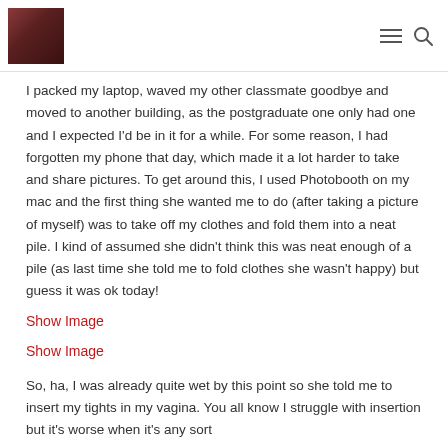[profile photo] [hamburger menu] [search icon]
I packed my laptop, waved my other classmate goodbye and moved to another building, as the postgraduate one only had one and I expected I'd be in it for a while. For some reason, I had forgotten my phone that day, which made it a lot harder to take and share pictures. To get around this, I used Photobooth on my mac and the first thing she wanted me to do (after taking a picture of myself) was to take off my clothes and fold them into a neat pile. I kind of assumed she didn't think this was neat enough of a pile (as last time she told me to fold clothes she wasn't happy) but guess it was ok today!
Show Image
Show Image
So, ha, I was already quite wet by this point so she told me to insert my tights in my vagina. You all know I struggle with insertion but it's worse when it's any sort